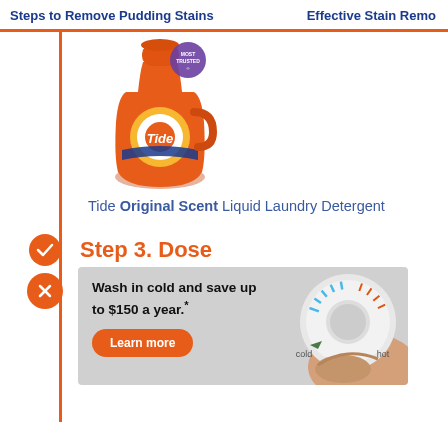Steps to Remove Pudding Stains    Effective Stain Remo
[Figure (photo): Tide Original Scent liquid laundry detergent bottle with orange cap and red/orange body, with a purple 'Most Trusted' badge on top]
Tide Original Scent Liquid Laundry Detergent
Step 3. Dose
[Figure (photo): Advertisement banner: 'Wash in cold and save up to $150 a year.' with a Learn more button and an image of a hand turning a thermostat dial from cold to hot]
he e